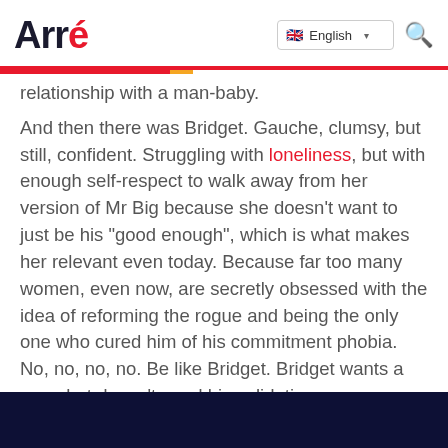Arré | English
relationship with a man-baby.
And then there was Bridget. Gauche, clumsy, but still, confident. Struggling with loneliness, but with enough self-respect to walk away from her version of Mr Big because she doesn't want to just be his "good enough", which is what makes her relevant even today. Because far too many women, even now, are secretly obsessed with the idea of reforming the rogue and being the only one who cured him of his commitment phobia. No, no, no, no. Be like Bridget. Bridget wants a man, but doesn't need his validation.